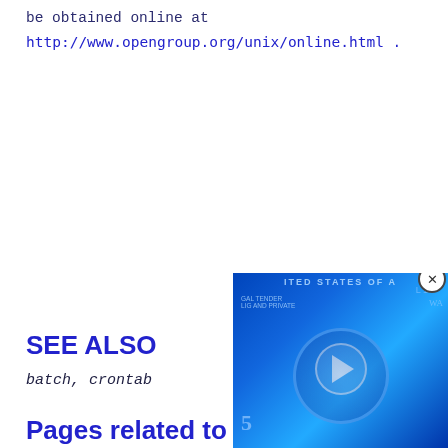be obtained online at
http://www.opengroup.org/unix/online.html .
SEE ALSO
batch, crontab
Pages related to at
[Figure (other): Video overlay showing a blue-tinted US dollar bill with a play button, partially covering the page content. A close (X) button is in the top-right corner.]